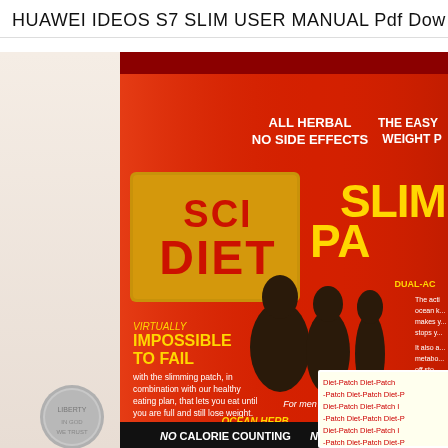HUAWEI IDEOS S7 SLIM USER MANUAL Pdf Dow
[Figure (photo): Photo of a SCI DIET Slimming Patch product box. The red box features text including 'ALL HERBAL NO SIDE EFFECTS', 'THE EASY WEIGHT P[ROGRAM]', 'SLIMMING PA[TCH]', 'VIRTUALLY IMPOSSIBLE TO FAIL', 'with the slimming patch, in combination with our healthy eating plan, that lets you eat until you are full and still lose weight.', 'For men & women', 'OCEAN HERB bladderwrack has been proven effective & safe for more than 100 years. Starts working same day.', 'THE ONLY NATURAL', 'NO CALORIE COUNTING', 'NO RESTRICTIVE [DIETS]'. Silhouettes of three body figures showing weight loss progression. A coin (dime) is visible at the bottom left. A Diet-Patch label sticker overlaps the box.]